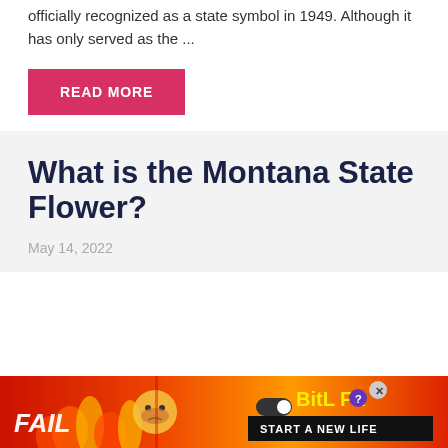officially recognized as a state symbol in 1949. Although it has only served as the ...
READ MORE
What is the Montana State Flower?
May 14, 2022
[Figure (photo): Advertisement banner with fire/cartoon imagery promoting BitLife mobile game with text FAIL, BitLife logo, and START A NEW LIFE tagline]